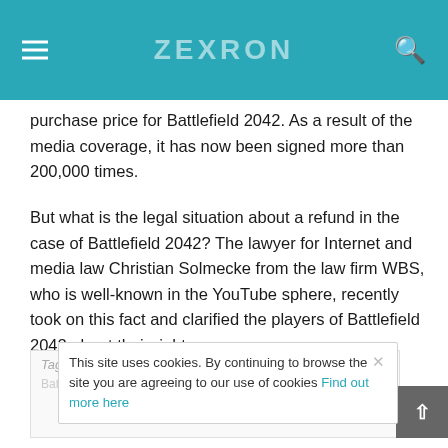ZEXRON
purchase price for Battlefield 2042. As a result of the media coverage, it has now been signed more than 200,000 times.
But what is the legal situation about a refund in the case of Battlefield 2042? The lawyer for Internet and media law Christian Solmecke from the law firm WBS, who is well-known in the YouTube sphere, recently took on this fact and clarified the players of Battlefield 2042 about their rights.
Tags
This site uses cookies. By continuing to browse the site you are agreeing to our use of cookies Find out more here